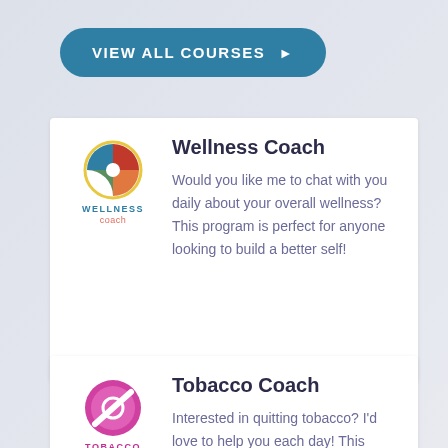[Figure (illustration): A teal/blue pill-shaped button labeled VIEW ALL COURSES with a right-pointing arrow]
[Figure (logo): Wellness Coach logo: a circular pie-chart style icon in blue, red, orange, green; text WELLNESS in blue uppercase, coach in salmon/orange below]
Wellness Coach
Would you like me to chat with you daily about your overall wellness?  This program is perfect for anyone looking to build a better self!
[Figure (logo): Tobacco Quit Coach logo: a pink/magenta circle with a diagonal strikethrough, text TOBACCO in magenta uppercase, quit coach in gray below]
Tobacco Coach
Interested in quitting tobacco?  I'd love to help you each day!  This